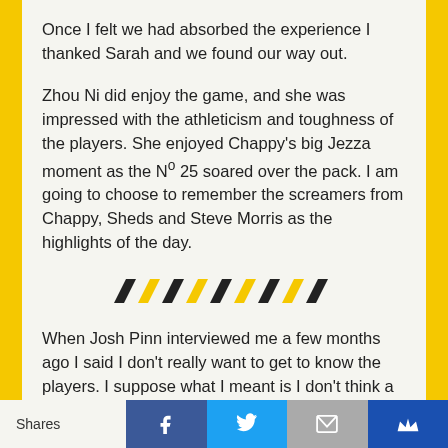Once I felt we had absorbed the experience I thanked Sarah and we found our way out.
Zhou Ni did enjoy the game, and she was impressed with the athleticism and toughness of the players. She enjoyed Chappy’s big Jezza moment as the Nº 25 soared over the pack. I am going to choose to remember the screamers from Chappy, Sheds and Steve Morris as the highlights of the day.
[Figure (illustration): Decorative divider with alternating black and yellow parallelogram/chevron shapes in a row]
When Josh Pinn interviewed me a few months ago I said I don’t really want to get to know the players. I suppose what I meant is I don’t think a fan really can get to know a current player. They must be surrounded by people who want to be seen with them, and want to be their friend
Shares | Facebook | Twitter | Email | Crown